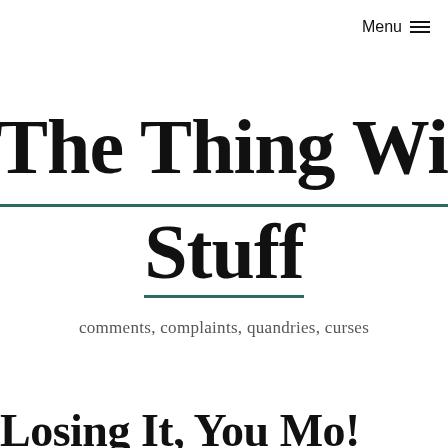Menu ☰
The Thing With The Stuff
comments, complaints, quandries, curses
Losing It, You Mo!